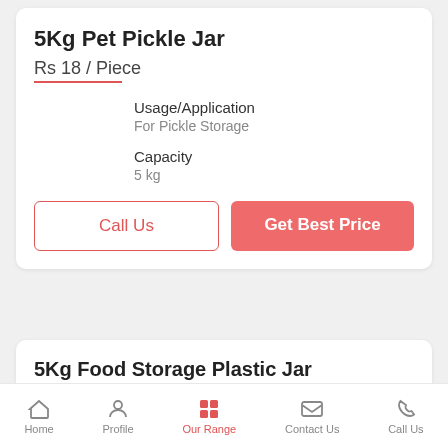5Kg Pet Pickle Jar
Rs 18 / Piece
Usage/Application
For Pickle Storage
Capacity
5 kg
Call Us
Get Best Price
5Kg Food Storage Plastic Jar
Rs 18 / Piece
Home | Profile | Our Range | Contact Us | Call Us